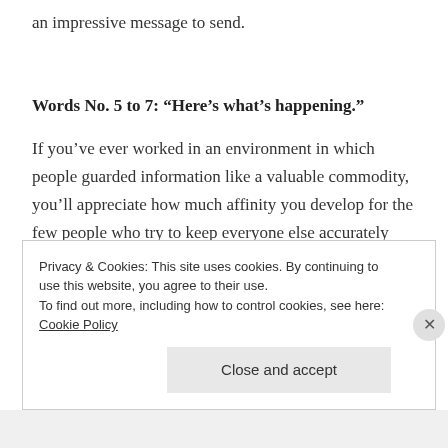an impressive message to send.
Words No. 5 to 7: “Here’s what’s happening.”
If you’ve ever worked in an environment in which people guarded information like a valuable commodity, you’ll appreciate how much affinity you develop for the few people who try to keep everyone else accurately
Privacy & Cookies: This site uses cookies. By continuing to use this website, you agree to their use.
To find out more, including how to control cookies, see here: Cookie Policy
Close and accept